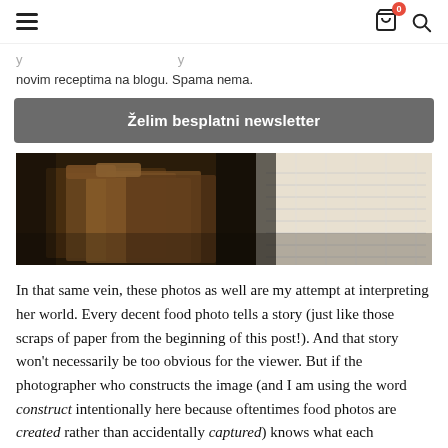Navigation header with hamburger menu, cart icon with badge 0, and search icon
novim receptima na blogu. Spama nema.
Želim besplatni newsletter
[Figure (photo): Close-up photo of manila file folders and papers/documents in dark setting]
In that same vein, these photos as well are my attempt at interpreting her world. Every decent food photo tells a story (just like those scraps of paper from the beginning of this post!). And that story won't necessarily be too obvious for the viewer. But if the photographer who constructs the image (and I am using the word construct intentionally here because oftentimes food photos are created rather than accidentally captured) knows what each